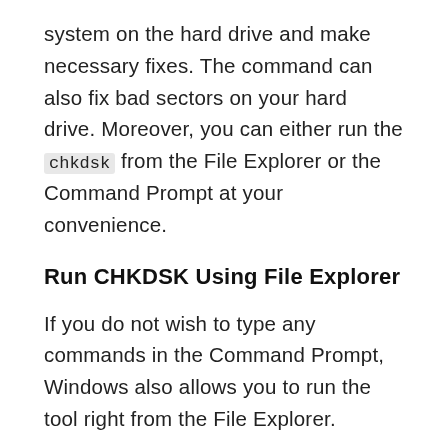system on the hard drive and make necessary fixes. The command can also fix bad sectors on your hard drive. Moreover, you can either run the chkdsk from the File Explorer or the Command Prompt at your convenience.
Run CHKDSK Using File Explorer
If you do not wish to type any commands in the Command Prompt, Windows also allows you to run the tool right from the File Explorer.
To do so, first, double-click on the 'This PC'